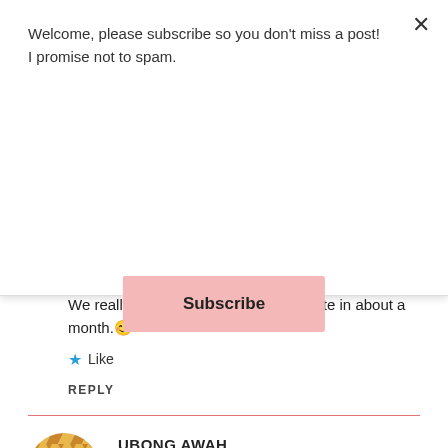Welcome, please subscribe so you don't miss a post! I promise not to spam.
Subscribe
We really thank God! Actually I graduate in about a month. 😊
Like
REPLY
UBONG AWAH
May 22, 2017 at 8:37 am
Great lessons learned, my girl and always proud of you. Hope you appreciate the tough love that my query represented.